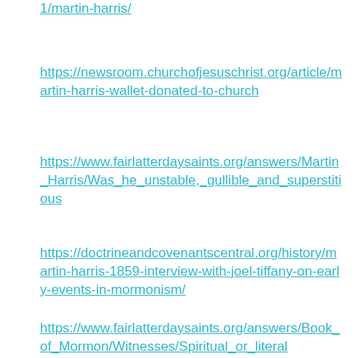1/martin-harris/
https://newsroom.churchofjesuschrist.org/article/martin-harris-wallet-donated-to-church
https://www.fairlatterdaysaints.org/answers/Martin_Harris/Was_he_unstable,_gullible_and_superstitious
https://doctrineandcovenantscentral.org/history/martin-harris-1859-interview-with-joel-tiffany-on-early-events-in-mormonism/
https://www.fairlatterdaysaints.org/answers/Book_of_Mormon/Witnesses/Spiritual_or_literal